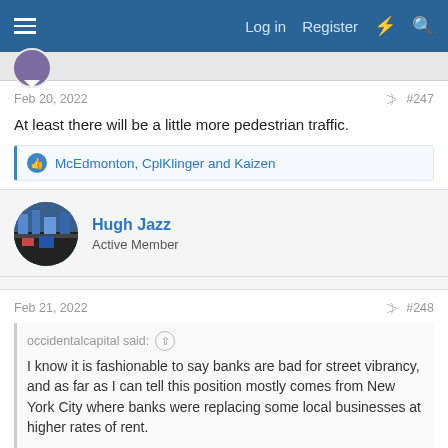Log in  Register
Feb 20, 2022  #247
At least there will be a little more pedestrian traffic.
McEdmonton, CplKlinger and Kaizen
Hugh Jazz
Active Member
Feb 21, 2022  #248
occidentalcapital said:
I know it is fashionable to say banks are bad for street vibrancy, and as far as I can tell this position mostly comes from New York City where banks were replacing some local businesses at higher rates of rent.

I would argue that this is quite a different environment - first there is also the local existing and this is an enigmatic...